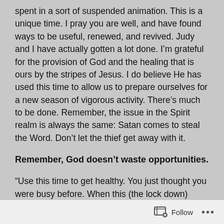spent in a sort of suspended animation. This is a unique time. I pray you are well, and have found ways to be useful, renewed, and revived. Judy and I have actually gotten a lot done. I'm grateful for the provision of God and the healing that is ours by the stripes of Jesus. I do believe He has used this time to allow us to prepare ourselves for a new season of vigorous activity. There's much to be done. Remember, the issue in the Spirit realm is always the same: Satan comes to steal the Word. Don't let the thief get away with it.
Remember, God doesn't waste opportunities.
“Use this time to get healthy. You just thought you were busy before. When this (the lock down) ends it is going to speed up.” This was the word that God
Follow